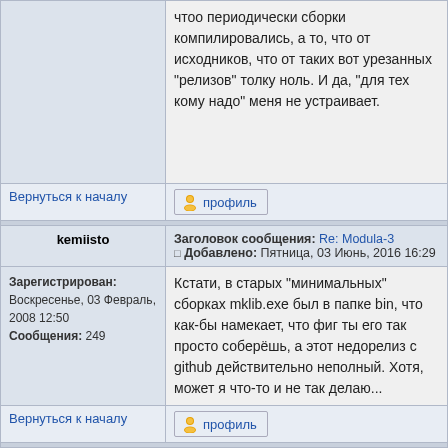чтоо периодически сборки компилировались, а то, что от исходников, что от таких вот урезанных "релизов" толку ноль. И да, "для тех кому надо" меня не устраивает.
Вернуться к началу
профиль
kemiisto
Заголовок сообщения: Re: Modula-3 Добавлено: Пятница, 03 Июнь, 2016 16:29
Зарегистрирован: Воскресенье, 03 Февраль, 2008 12:50 Сообщения: 249
Кстати, в старых "минимальных" сборках mklib.exe был в папке bin, что как-бы намекает, что фиг ты его так просто соберёшь, а этот недорелиз с github действительно неполный. Хотя, может я что-то и не так делаю...
Вернуться к началу
профиль
Kemet
Заголовок сообщения: Re: Modula-3 Добавлено: Пятница, 03 Июнь, 2016 18:53